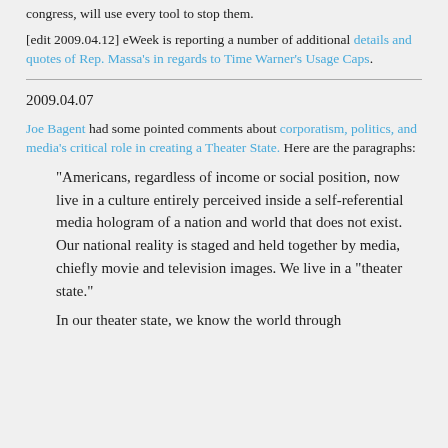[edit 2009.04.12] eWeek is reporting a number of additional details and quotes of Rep. Massa's in regards to Time Warner's Usage Caps.
2009.04.07
Joe Bagent had some pointed comments about corporatism, politics, and media's critical role in creating a Theater State. Here are the paragraphs:
“Americans, regardless of income or social position, now live in a culture entirely perceived inside a self-referential media hologram of a nation and world that does not exist. Our national reality is staged and held together by media, chiefly movie and television images. We live in a “theater state.”
In our theater state, we know the world through